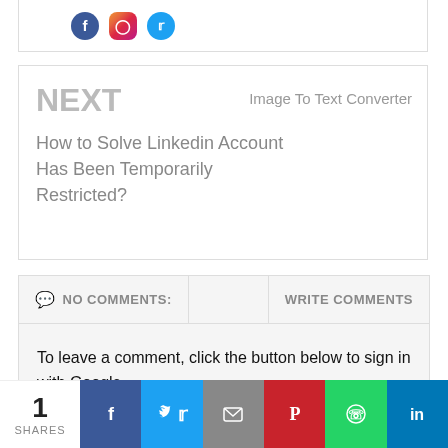[Figure (other): Social media icons: Facebook (blue circle with f), Instagram (pink rounded square), Twitter (blue circle with bird)]
NEXT
Image To Text Converter
How to Solve Linkedin Account Has Been Temporarily Restricted?
NO COMMENTS:
WRITE COMMENTS
To leave a comment, click the button below to sign in with Google.
SIGN IN WITH GOOGLE
[Figure (other): Share bar with count '1 SHARES' and social share buttons: Facebook, Twitter, Email, Pinterest, WhatsApp, LinkedIn]